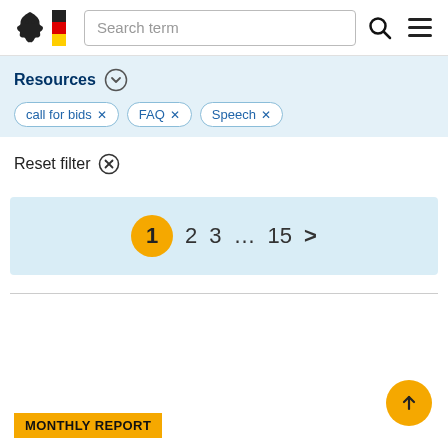Search term
Resources
call for bids ×
FAQ ×
Speech ×
Reset filter ⊗
1  2  3  ...  15  >
MONTHLY REPORT